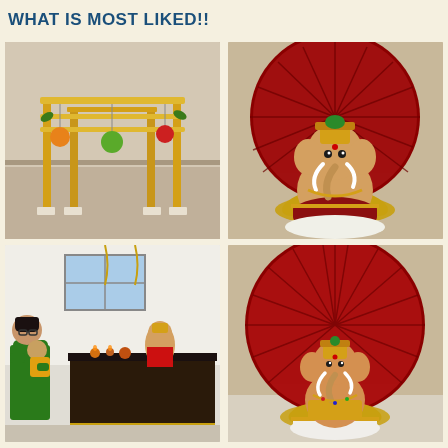WHAT IS MOST LIKED!!
[Figure (photo): Decorative mandap/arch structure with golden poles, horizontal bars, and hanging ornamental balls (green, red, orange) for a Hindu festival setup, indoors on grey carpet floor.]
[Figure (photo): Ganesh idol decorated with a large red fan/umbrella backdrop, ornate jewelry, and seated on lotus leaves and decorative base.]
[Figure (photo): Woman in green saree holding a baby in yellow outfit, standing in front of a Ganesh puja altar with diyas, idols, and decorations.]
[Figure (photo): Another Ganesh idol with a large red pleated fan backdrop, gold crown, seated on a decorated white and gold base on marble surface.]